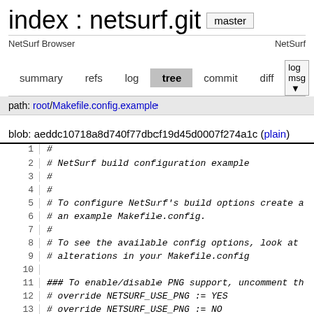index : netsurf.git  master
NetSurf Browser    NetSurf
summary  refs  log  tree  commit  diff  log msg
path: root/Makefile.config.example
blob: aeddc10718a8d740f77dbcf19d45d0007f274a1c (plain)
1  #
2  # NetSurf build configuration example
3  #
4  #
5  # To configure NetSurf's build options create a
6  # an example Makefile.config.
7  #
8  # To see the available config options, look at
9  # alterations in your Makefile.config
10  
11  ### To enable/disable PNG support, uncomment th
12  # override NETSURF_USE_PNG := YES
13  # override NETSURF_USE_PNG := NO
14  
15  ### To enable/disable SVGTiny support, uncomme
16  # override NETSURF_USE_NSSVG := YES
17  # override NETSURF_USE_NSSVG := NO